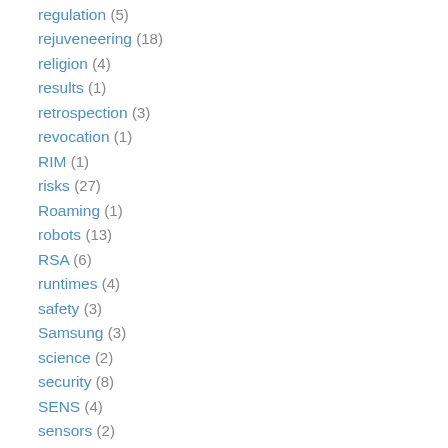regulation (5)
rejuveneering (18)
religion (4)
results (1)
retrospection (3)
revocation (1)
RIM (1)
risks (27)
Roaming (1)
robots (13)
RSA (6)
runtimes (4)
safety (3)
Samsung (3)
science (2)
security (8)
SENS (4)
sensors (2)
simplicity (2)
simulation (1)